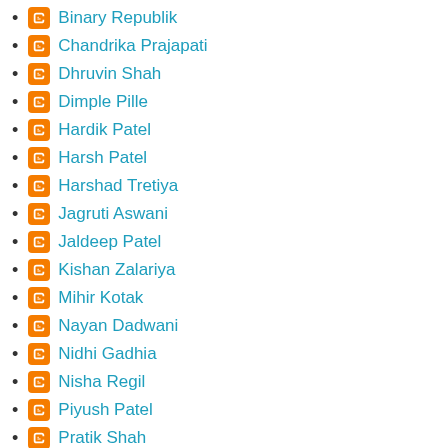Binary Republik
Chandrika Prajapati
Dhruvin Shah
Dimple Pille
Hardik Patel
Harsh Patel
Harshad Tretiya
Jagruti Aswani
Jaldeep Patel
Kishan Zalariya
Mihir Kotak
Nayan Dadwani
Nidhi Gadhia
Nisha Regil
Piyush Patel
Pratik Shah
Rohan Mistry